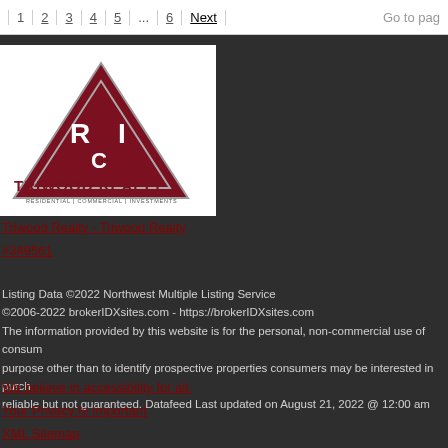1 | 2 | 3 | 4 | 5 | ... | 6 | Next    Go to page
[Figure (logo): Triwood Realty logo with triangle RCI emblem and text TRIWOOD REALTY RESIDENTIAL | COMMERCIAL | INVESTMENTS]
Triwood Realty - Triwood Realty
#349561
Listing Data ©2022 Northwest Multiple Listing Service
©2006-2022 brokerIDXsites.com - https://brokerIDXsites.com
The information provided by this website is for the personal, non-commercial use of consumers and may not be used for any purpose other than to identify prospective properties consumers may be interested in purchasing. The data is deemed reliable but not guaranteed. Datafeed Last updated on August 21, 2022 @ 12:00 am
We believe in accessibility for all.
Your Privacy Is Important
XML Sitemap